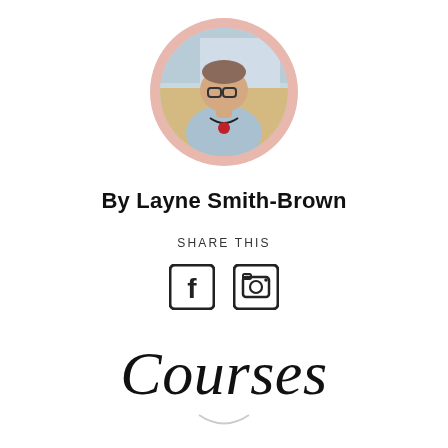[Figure (photo): Circular profile photo of Layne Smith-Brown with a pinkish-salmon circular border. The person wears glasses and a light blue top with a beaded necklace, set against a blurred outdoor background.]
By Layne Smith-Brown
SHARE THIS
[Figure (infographic): Two social media icons side by side: a Facebook icon (square with F) and an Instagram icon (square with camera), both dark/black.]
Courses